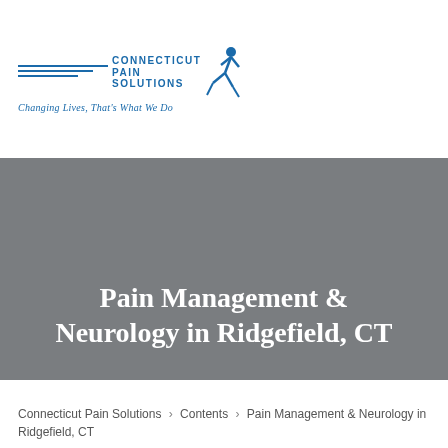[Figure (logo): Connecticut Pain Solutions logo with runner figure and tagline 'Changing Lives, That's What We Do']
Pain Management & Neurology in Ridgefield, CT
Connecticut Pain Solutions > Contents > Pain Management & Neurology in Ridgefield, CT
Contact Us Today to Schedule an Appointment